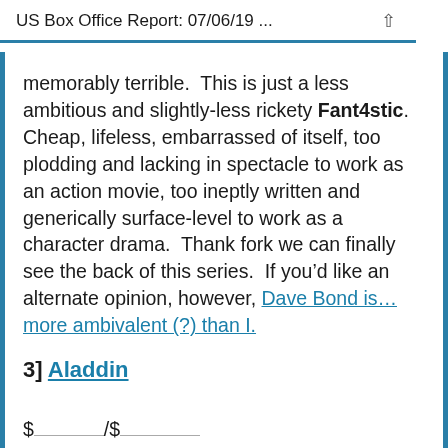US Box Office Report: 07/06/19 ...
memorably terrible.  This is just a less ambitious and slightly-less rickety Fant4stic.  Cheap, lifeless, embarrassed of itself, too plodding and lacking in spectacle to work as an action movie, too ineptly written and generically surface-level to work as a character drama.  Thank fork we can finally see the back of this series.  If you’d like an alternate opinion, however, Dave Bond is… more ambivalent (?) than I.
3] Aladdin
$.../$...